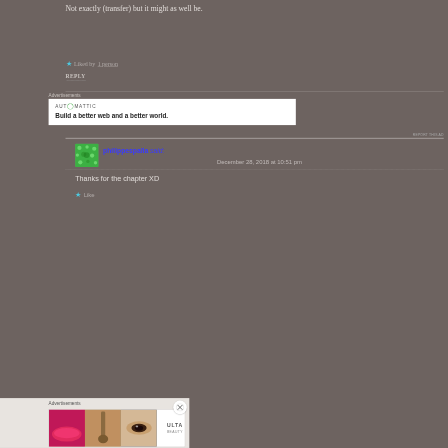Not exactly (transfer) but it might as well be.
★ Liked by 1 person
REPLY
Advertisements
[Figure (screenshot): Automattic advertisement: 'Build a better web and a better world.']
REPORT THIS AD
philippespalla said:
December 28, 2018 at 10:51 pm
Thanks for the chapter XD
★ Like
Advertisements
[Figure (screenshot): ULTA Beauty advertisement with makeup images and 'SHOP NOW' text]